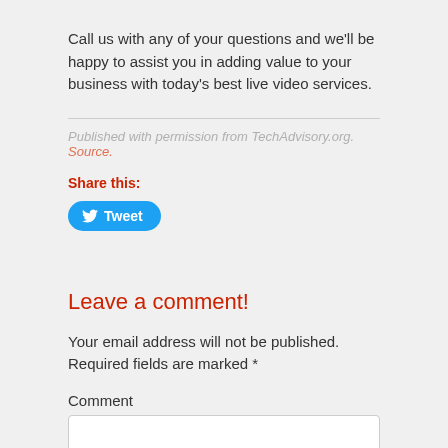Call us with any of your questions and we'll be happy to assist you in adding value to your business with today's best live video services.
Published with permission from TechAdvisory.org. Source.
Share this:
[Figure (other): Twitter Tweet button]
Leave a comment!
Your email address will not be published. Required fields are marked *
Comment
[Figure (other): Comment text input box]